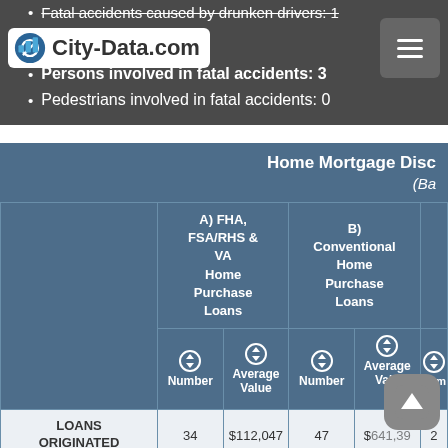Fatal accidents caused by drunken drivers: 1
Persons involved in fatal accidents: 3
Pedestrians involved in fatal accidents: 0
|  | A) FHA, FSA/RHS & VA Home Purchase Loans - Number | A) FHA, FSA/RHS & VA Home Purchase Loans - Average Value | B) Conventional Home Purchase Loans - Number | B) Conventional Home Purchase Loans - Average Value | C) Number |
| --- | --- | --- | --- | --- | --- |
| LOANS ORIGINATED | 34 | $112,047 | 47 | $641,39 | 2 |